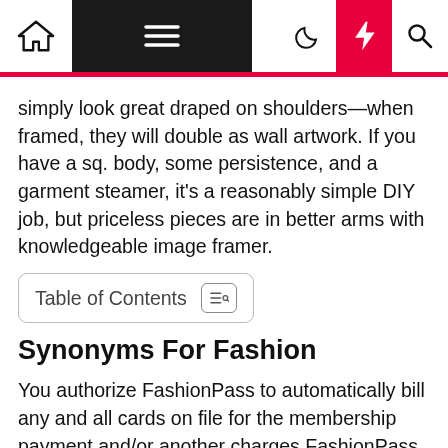[Navigation bar with home, menu, dark mode, lightning, and search icons]
simply look great draped on shoulders—when framed, they will double as wall artwork. If you have a sq. body, some persistence, and a garment steamer, it's a reasonably simple DIY job, but priceless pieces are in better arms with knowledgeable image framer.
Table of Contents
Synonyms For Fashion
You authorize FashionPass to automatically bill any and all cards on file for the membership payment and/or another charges FashionPass deems necessary. FINAL SALE – You understand that each one products are offered as is and that all merchandise, excluding pasties and fashion tape,